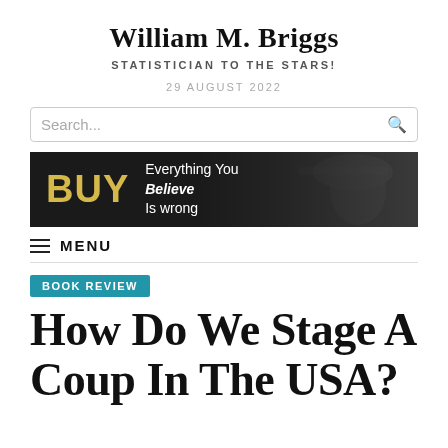William M. Briggs
STATISTICIAN TO THE STARS!
29 AUGUST 2022
Search...
[Figure (illustration): Dark banner with BUY text in gold and Everything You Believe Is wrong text on dark background with man in hat silhouette]
MENU
BOOK REVIEW
How Do We Stage A Coup In The USA?